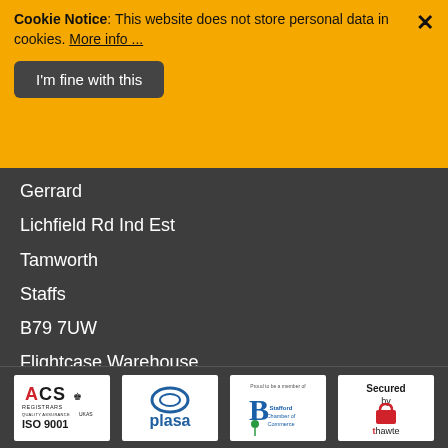Cookie Notice: This website does not store personal data in cookies. More info ...
I'm fine with this
Gerrard
Lichfield Rd Ind Est
Tamworth
Staffs
B79 7UW
Flightcase Warehouse
MEPC Silverstone Park
Silverstone Park
Silverstone
Towcester
NN12 8GX
[Figure (logo): ACS Registrars ISO 9001 UKAS logo]
[Figure (logo): PLASA logo]
[Figure (logo): Stafford Chamber of Commerce logo]
[Figure (logo): Secured by Thawte logo]